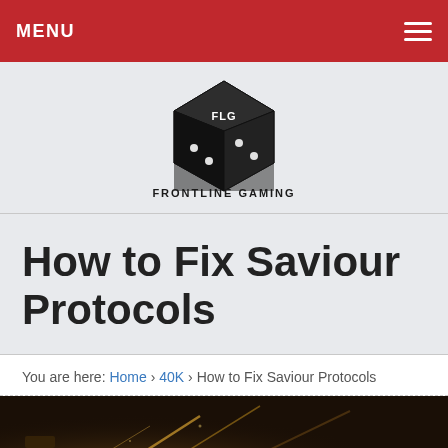MENU
[Figure (logo): Frontline Gaming logo — a stylized dice cube with FLG letters, above the text FRONTLINE GAMING and CHAMPIONS OF TABLETOP]
How to Fix Saviour Protocols
You are here: Home › 40K › How to Fix Saviour Protocols
[Figure (photo): Partial image of a Warhammer 40K themed scene with golden mechanical elements on a dark background]